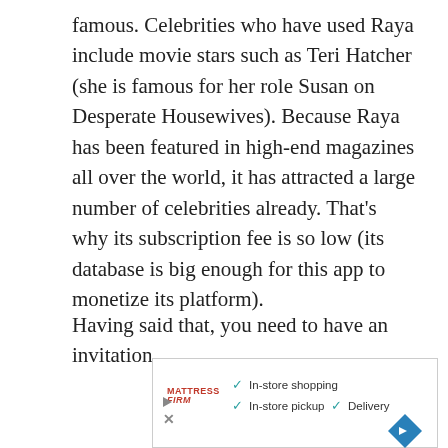famous. Celebrities who have used Raya include movie stars such as Teri Hatcher (she is famous for her role Susan on Desperate Housewives). Because Raya has been featured in high-end magazines all over the world, it has attracted a large number of celebrities already. That's why its subscription fee is so low (its database is big enough for this app to monetize its platform).
Having said that, you need to have an invitation before joining Raya; you need to...
[Figure (other): Advertisement banner for Mattress Firm showing checkmarks for In-store shopping, In-store pickup, and Delivery, with a blue diamond navigation icon on the right.]